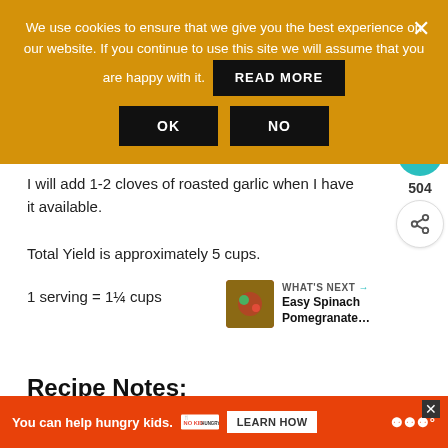We use cookies to ensure that we give you the best experience on our website. If you continue to use this site we will assume that you are happy with it. READ MORE OK NO
that you can make the recipe perfectly every single time you try it.
Notes
I will add 1-2 cloves of roasted garlic when I have it available.
Total Yield is approximately 5 cups.
1 serving = 1¼ cups
Recipe Notes:
You can help hungry kids. NO KID HUNGRY LEARN HOW